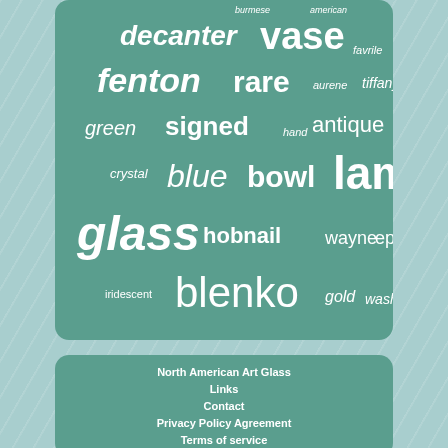[Figure (infographic): Word cloud on teal/green rounded card showing art glass related terms in varying sizes and styles: burmese, american, decanter, vase, favrile, fenton, rare, aurene, tiffany, green, signed, hand, antique, large, crystal, blue, bowl, lamp, glass, hobnail, wayne, epergne, iridescent, blenko, gold, washington]
North American Art Glass
Links
Contact
Privacy Policy Agreement
Terms of service